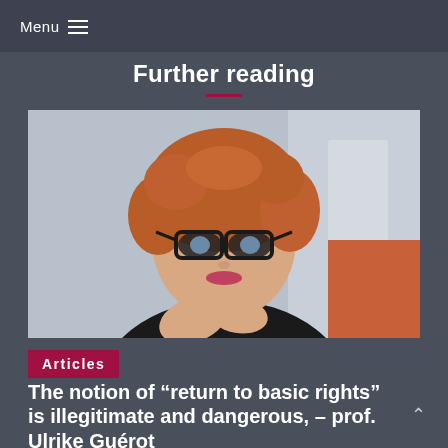Menu
Further reading
[Figure (photo): Portrait photograph of a woman with short curly red hair and black cat-eye glasses, wearing a black top, gesturing with her hands, with a blurred office background with orange chair visible.]
Articles
The notion of “return to basic rights” is illegitimate and dangerous, – prof. Ulrike Guérot